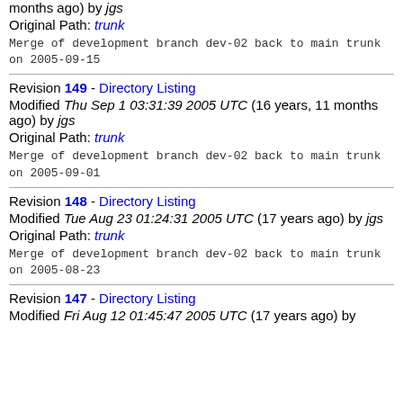months ago) by jgs
Original Path: trunk
Merge of development branch dev-02 back to main trunk on 2005-09-15
Revision 149 - Directory Listing
Modified Thu Sep 1 03:31:39 2005 UTC (16 years, 11 months ago) by jgs
Original Path: trunk
Merge of development branch dev-02 back to main trunk on 2005-09-01
Revision 148 - Directory Listing
Modified Tue Aug 23 01:24:31 2005 UTC (17 years ago) by jgs
Original Path: trunk
Merge of development branch dev-02 back to main trunk on 2005-08-23
Revision 147 - Directory Listing
Modified Fri Aug 12 01:45:47 2005 UTC (17 years ago) by